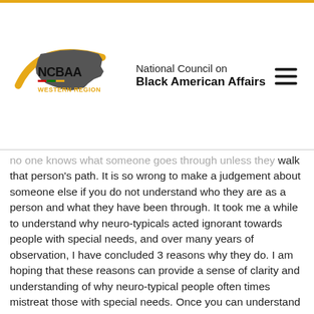[Figure (logo): NCBAA Western Region logo with map of USA silhouette, swoosh in yellow/gold, and organization name 'National Council on Black American Affairs']
no one knows what someone goes through unless they walk that person's path. It is so wrong to make a judgement about someone else if you do not understand who they are as a person and what they have been through. It took me a while to understand why neuro-typicals acted ignorant towards people with special needs, and over many years of observation, I have concluded 3 reasons why they do. I am hoping that these reasons can provide a sense of clarity and understanding of why neuro-typical people often times mistreat those with special needs. Once you can understand these reasons, there are ways of stopping the ignorance through peaceful confrontation.